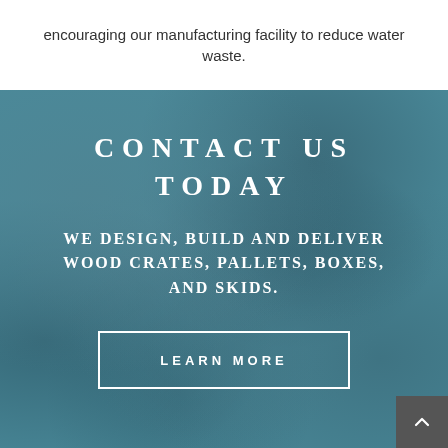encouraging our manufacturing facility to reduce water waste.
CONTACT US TODAY
WE DESIGN, BUILD AND DELIVER WOOD CRATES, PALLETS, BOXES, AND SKIDS.
LEARN MORE